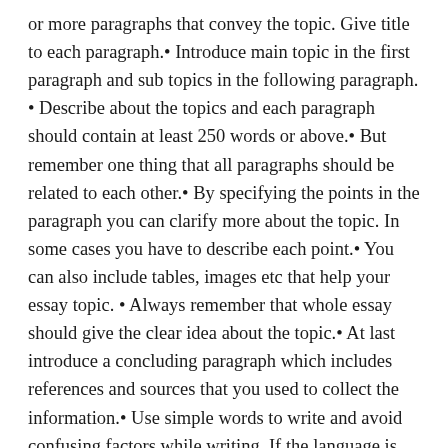or more paragraphs that convey the topic. Give title to each paragraph.• Introduce main topic in the first paragraph and sub topics in the following paragraph. • Describe about the topics and each paragraph should contain at least 250 words or above.• But remember one thing that all paragraphs should be related to each other.• By specifying the points in the paragraph you can clarify more about the topic. In some cases you have to describe each point.• You can also include tables, images etc that help your essay topic. • Always remember that whole essay should give the clear idea about the topic.• At last introduce a concluding paragraph which includes references and sources that you used to collect the information.• Use simple words to write and avoid confusing factors while writing. If the language is not simple reader can't understand the idea which you want to convey. Also ask experts for the essay writing tips.• A good quality essay should be simple and precise. All these essay writing tips are important and helpful to write a good quality essay. Thus follow the above suggestions to write a better essay about the topic.